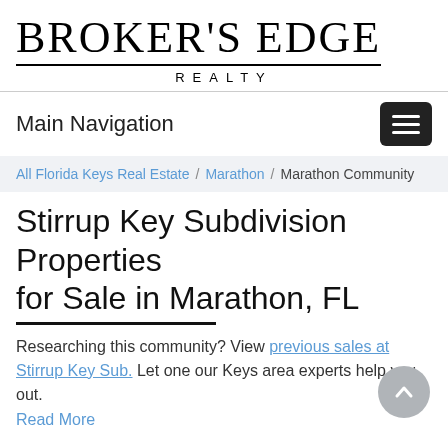[Figure (logo): Broker's Edge Realty logo with large serif text and underline, with REALTY in spaced caps below]
Main Navigation
All Florida Keys Real Estate / Marathon / Marathon Community
Stirrup Key Subdivision Properties for Sale in Marathon, FL
Researching this community? View previous sales at Stirrup Key Sub. Let one our Keys area experts help you out. Read More
Total Listings 0
Order By: